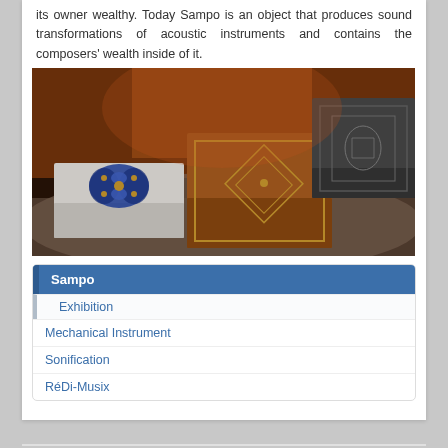its owner wealthy. Today Sampo is an object that produces sound transformations of acoustic instruments and contains the composers' wealth inside of it.
[Figure (photo): Three decorative boxes with ornate designs displayed on a fabric surface. Left box is white with blue jeweled decoration, center box is orange/brown with golden embossed pattern, right box is dark gray with embossed design.]
Sampo
Exhibition
Mechanical Instrument
Sonification
RéDi-Musix